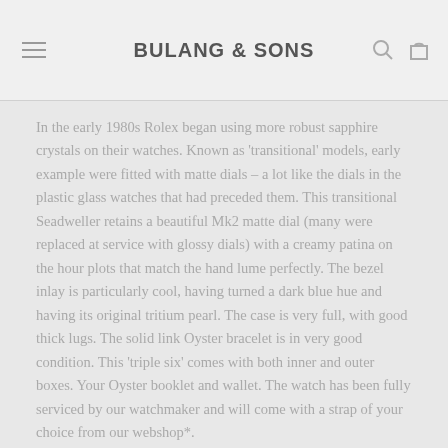BULANG & SONS
In the early 1980s Rolex began using more robust sapphire crystals on their watches. Known as 'transitional' models, early example were fitted with matte dials – a lot like the dials in the plastic glass watches that had preceded them. This transitional Seadweller retains a beautiful Mk2 matte dial (many were replaced at service with glossy dials) with a creamy patina on the hour plots that match the hand lume perfectly. The bezel inlay is particularly cool, having turned a dark blue hue and having its original tritium pearl. The case is very full, with good thick lugs. The solid link Oyster bracelet is in very good condition. This 'triple six' comes with both inner and outer boxes. Your Oyster booklet and wallet. The watch has been fully serviced by our watchmaker and will come with a strap of your choice from our webshop*.